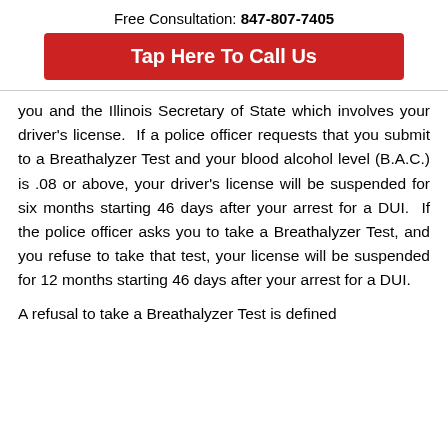Free Consultation: 847-807-7405
Tap Here To Call Us
you and the Illinois Secretary of State which involves your driver's license.  If a police officer requests that you submit to a Breathalyzer Test and your blood alcohol level (B.A.C.) is .08 or above, your driver's license will be suspended for six months starting 46 days after your arrest for a DUI.  If the police officer asks you to take a Breathalyzer Test, and you refuse to take that test, your license will be suspended for 12 months starting 46 days after your arrest for a DUI.
A refusal to take a Breathalyzer Test is defined